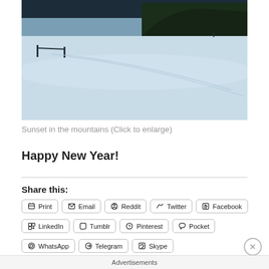[Figure (photo): Snowy mountain landscape with ski tracks on a snow-covered slope, dark treeline in background]
Sunset in the mountains (Click to enlarge)
Happy New Year!
Share this:
Print
Email
Reddit
Twitter
Facebook
LinkedIn
Tumblr
Pinterest
Pocket
WhatsApp
Telegram
Skype
8 bloggers like this.
Advertisements